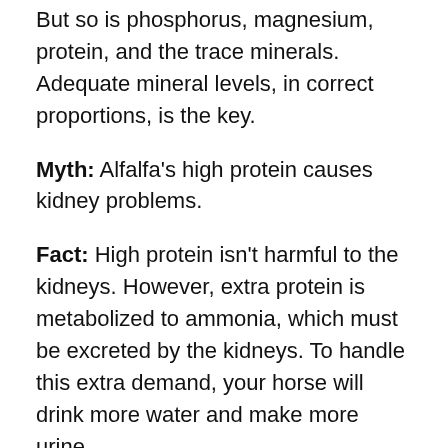But so is phosphorus, magnesium, protein, and the trace minerals. Adequate mineral levels, in correct proportions, is the key.
Myth: Alfalfa's high protein causes kidney problems.
Fact: High protein isn't harmful to the kidneys. However, extra protein is metabolized to ammonia, which must be excreted by the kidneys. To handle this extra demand, your horse will drink more water and make more urine.
Myth: Alfalfa's high protein makes a horse "hot."
Fact: For reasons that really aren't clear, some